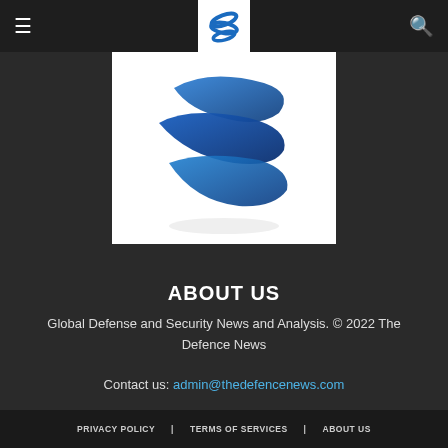≡  [logo]  🔍
[Figure (logo): Blue swirling ribbon/wave logo for The Defence News on white background]
ABOUT US
Global Defense and Security News and Analysis. © 2022 The Defence News
Contact us: admin@thedefencenews.com
PRIVACY POLICY   TERMS OF SERVICES   ABOUT US